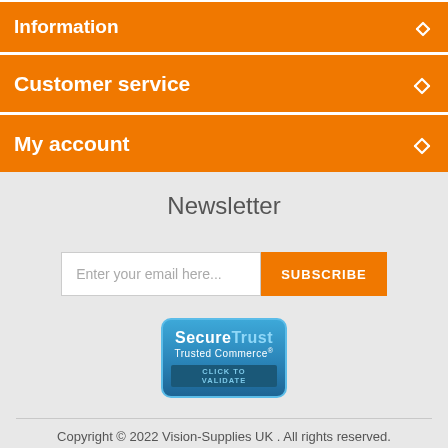Information
Customer service
My account
Newsletter
Enter your email here...
SUBSCRIBE
[Figure (logo): SecureTrust Trusted Commerce CLICK TO VALIDATE badge]
Copyright © 2022 Vision-Supplies UK . All rights reserved. Powered by nopCommerce